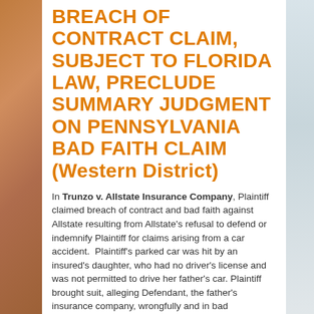BREACH OF CONTRACT CLAIM, SUBJECT TO FLORIDA LAW, PRECLUDE SUMMARY JUDGMENT ON PENNSYLVANIA BAD FAITH CLAIM (Western District)
In Trunzo v. Allstate Insurance Company, Plaintiff claimed breach of contract and bad faith against Allstate resulting from Allstate's refusal to defend or indemnify Plaintiff for claims arising from a car accident.  Plaintiff's parked car was hit by an insured's daughter, who had no driver's license and was not permitted to drive her father's car. Plaintiff brought suit, alleging Defendant, the father's insurance company, wrongfully and in bad